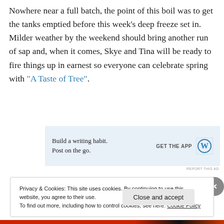Nowhere near a full batch, the point of this boil was to get the tanks emptied before this week's deep freeze set in. Milder weather by the weekend should bring another run of sap and, when it comes, Skye and Tina will be ready to fire things up in earnest so everyone can celebrate spring with "A Taste of Tree".
[Figure (other): WordPress advertisement banner: 'Build a writing habit. Post on the go.' with GET THE APP button and WordPress logo]
REPORT THIS AD
Privacy & Cookies: This site uses cookies. By continuing to use this website, you agree to their use.
To find out more, including how to control cookies, see here: Cookie Policy
Close and accept